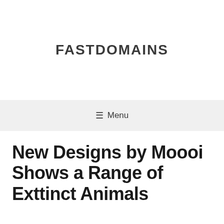FASTDOMAINS
☰ Menu
New Designs by Moooi Shows a Range of Exttinct Animals